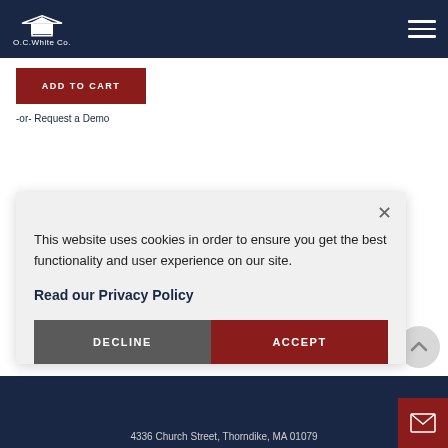O.C.White Co.
ADD TO CART
-or- Request a Demo
This website uses cookies in order to ensure you get the best functionality and user experience on our site.
Read our Privacy Policy
DECLINE
ACCEPT
4336 Church Street, Thorndike, MA 01079